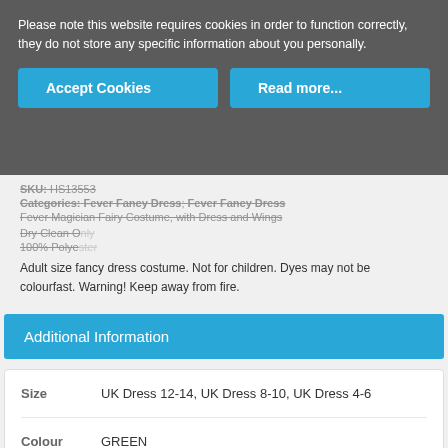Please note this website requires cookies in order to function correctly, they do not store any specific information about you personally.
SKU: HS13553
Categories: Fever Fancy Dress; Fever Fancy Dress
Fever Magician Fairy Costume, with Dress and Wings
Dry Clean Only
100% Polyester
Adult size fancy dress costume. Not for children. Dyes may not be colourfast. Warning! Keep away from fire.
Additional Information
|  |  |
| --- | --- |
| Size | UK Dress 12-14, UK Dress 8-10, UK Dress 4-6 |
| Colour | GREEN |
Related Products